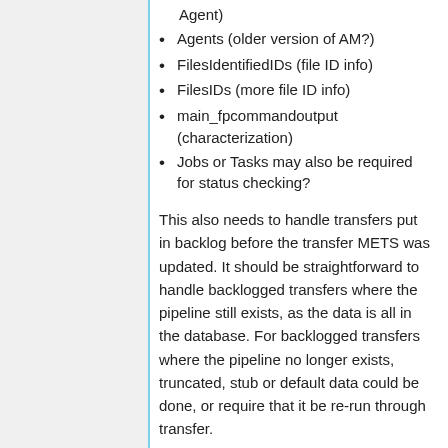Agent)
Agents (older version of AM?)
FilesIdentifiedIDs (file ID info)
FilesIDs (more file ID info)
main_fpcommandoutput (characterization)
Jobs or Tasks may also be required for status checking?
This also needs to handle transfers put in backlog before the transfer METS was updated. It should be straightforward to handle backlogged transfers where the pipeline still exists, as the data is all in the database. For backlogged transfers where the pipeline no longer exists, truncated, stub or default data could be done, or require that it be re-run through transfer.
Orig...